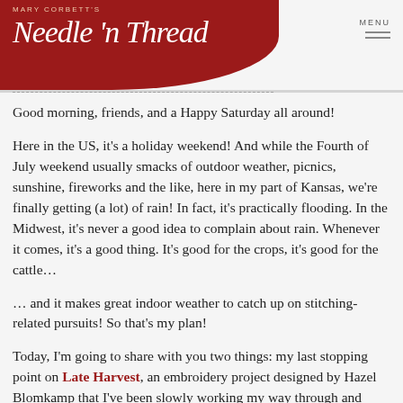Mary Corbett's Needle 'n Thread — MENU
Good morning, friends, and a Happy Saturday all around!
Here in the US, it's a holiday weekend! And while the Fourth of July weekend usually smacks of outdoor weather, picnics, sunshine, fireworks and the like, here in my part of Kansas, we're finally getting (a lot) of rain! In fact, it's practically flooding. In the Midwest, it's never a good idea to complain about rain. Whenever it comes, it's a good thing. It's good for the crops, it's good for the cattle…
… and it makes great indoor weather to catch up on stitching-related pursuits! So that's my plan!
Today, I'm going to share with you two things: my last stopping point on Late Harvest, an embroidery project designed by Hazel Blomkamp that I've been slowly working my way through and sharing here on Needle 'n Thread; and a personal update, because many of you are inquiring how things are panning out with my Big Life Adventure with Cancer.